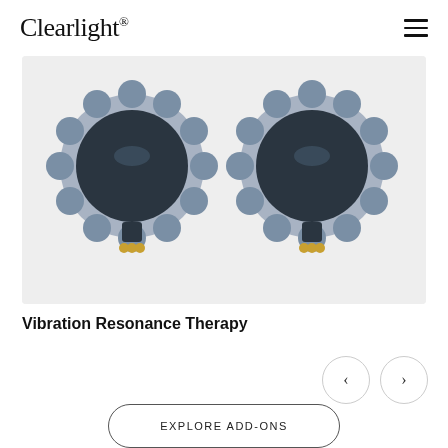Clearlight®
[Figure (photo): Two vibration resonance therapy devices photographed from above against a light gray background. Each device is circular with a dark navy/slate blue top, scalloped metallic edges, and gold-colored connector pins at the bottom.]
Vibration Resonance Therapy
[Figure (other): Navigation arrows: left chevron and right chevron in circular bordered buttons]
EXPLORE ADD-ONS